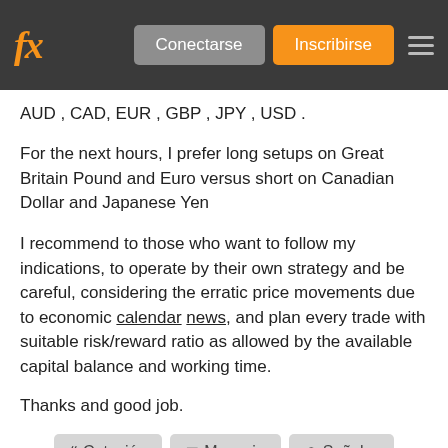fx  Conectarse  Inscribirse
AUD , CAD, EUR , GBP , JPY , USD .
For the next hours, I prefer long setups on Great Britain Pound and Euro versus short on Canadian Dollar and Japanese Yen
I recommend to those who want to follow my indications, to operate by their own strategy and be careful, considering the erratic price movements due to economic calendar news, and plan every trade with suitable risk/reward ratio as allowed by the available capital balance and working time.
Thanks and good job.
❝ Cotización   ✉ Mensaje   ⊘ Señalar